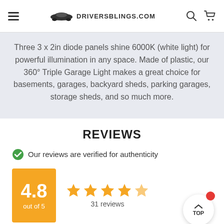DRIVERSBLINGS.COM
Three 3 x 2in diode panels shine 6000K (white light) for powerful illumination in any space. Made of plastic, our 360° Triple Garage Light makes a great choice for basements, garages, backyard sheds, parking garages, storage sheds, and so much more.
REVIEWS
Our reviews are verified for authenticity
4.8 out of 5
31 reviews